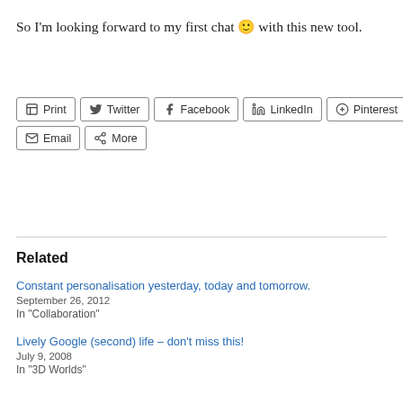So I'm looking forward to my first chat 🙂 with this new tool.
[Figure (other): Share buttons row: Print, Twitter, Facebook, LinkedIn, Pinterest, Email, More]
Related
Constant personalisation yesterday, today and tomorrow.
September 26, 2012
In "Collaboration"
Lively Google (second) life – don't miss this!
July 9, 2008
In "3D Worlds"